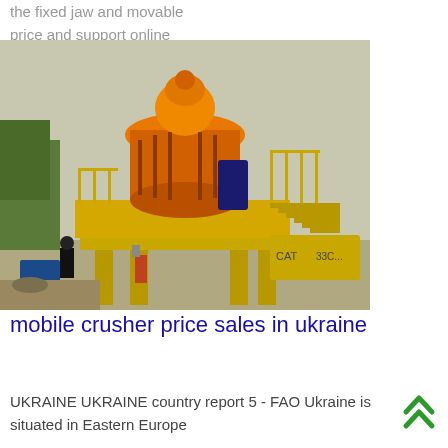the fixed jaw and movable price and support online mobile jaw crusher for sale in
[Figure (photo): Yellow mobile cone crusher machine on a construction/mining site, with an orange cone crusher unit on top of a yellow elevated platform with railings and stairs. A worker in black stands nearby. A CAT excavator is visible in the background.]
mobile crusher price sales in ukraine
UKRAINE UKRAINE country report 5 - FAO Ukraine is situated in Eastern Europe